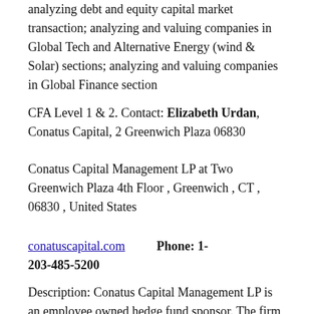analyzing debt and equity capital market transaction; analyzing and valuing companies in Global Tech and Alternative Energy (wind & Solar) sections; analyzing and valuing companies in Global Finance section
CFA Level 1 & 2. Contact: Elizabeth Urdan, Conatus Capital, 2 Greenwich Plaza 06830
Conatus Capital Management LP at Two Greenwich Plaza 4th Floor , Greenwich , CT , 06830 , United States
conatuscapital.com   Phone: 1-203-485-5200
Description: Conatus Capital Management LP is an employee owned hedge fund sponsor. The firm primarily provides its services to pooled investments vehicles. It invests in public equity